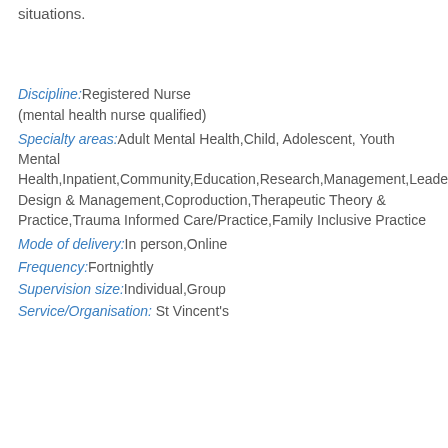situations.
Discipline: Registered Nurse (mental health nurse qualified)
Specialty areas: Adult Mental Health,Child, Adolescent, Youth Mental Health,Inpatient,Community,Education,Research,Management,Leadership,Pro Design & Management,Coproduction,Therapeutic Theory & Practice,Trauma Informed Care/Practice,Family Inclusive Practice
Mode of delivery: In person,Online
Frequency: Fortnightly
Supervision size: Individual,Group
Service/Organisation: St Vincent's